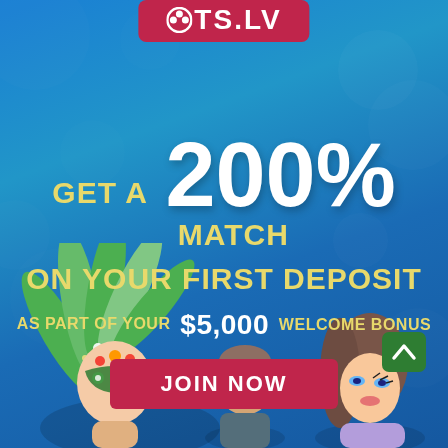[Figure (logo): SLOTS.LV logo in red/crimson rounded rectangle with white text and circular icon on top]
GET A 200% MATCH ON YOUR FIRST DEPOSIT AS PART OF YOUR $5,000 WELCOME BONUS
JOIN NOW
[Figure (illustration): Animated casino characters: a female figure with green feathered Mardi Gras mask on the left, a male figure in the center, and a glamorous female figure on the right]